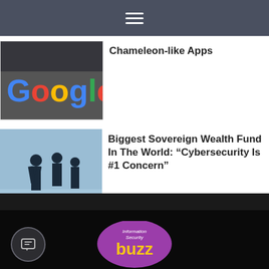Navigation menu (hamburger icon)
Chameleon-like Apps
[Figure (photo): Google logo thumbnail image — hand pointing at colorful Google sign]
Biggest Sovereign Wealth Fund In The World: “Cybersecurity Is #1 Concern”
[Figure (photo): Silhouettes of business people walking in a corridor]
[Figure (logo): Information Security Buzz (ISBuzz) speech bubble logo in purple with yellow and white text]
Information Security Buzz (aka ISBuzz News) is an independent resource that provides the experts comments, analysis and opinion on the latest Information Security news and topics